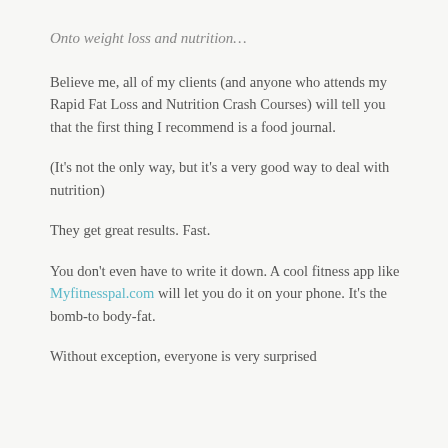Onto weight loss and nutrition…
Believe me, all of my clients (and anyone who attends my Rapid Fat Loss and Nutrition Crash Courses) will tell you that the first thing I recommend is a food journal.
(It's not the only way, but it's a very good way to deal with nutrition)
They get great results. Fast.
You don't even have to write it down. A cool fitness app like Myfitnesspal.com will let you do it on your phone. It's the bomb-to body-fat.
Without exception, everyone is very surprised